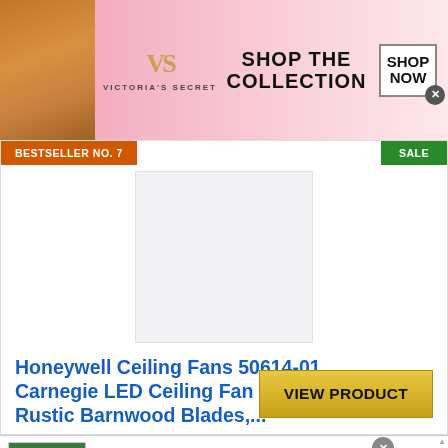[Figure (screenshot): Victoria's Secret advertisement banner with a model on the left, VS logo in center, 'SHOP THE COLLECTION' text, and a 'SHOP NOW' button with close X]
BESTSELLER NO. 7
SALE
[Figure (photo): Product image placeholder for Honeywell Ceiling Fan]
Honeywell Ceiling Fans 50614-01 Carnegie LED Ceiling Fan 52", Indoor, Rustic Barnwood Blades,...
VIEW PRODUCT
[Figure (screenshot): Groupon Official Site advertisement with logo image, title 'Groupon Official Site | Online Shopping Deals', description 'Discover & Save with Over 300k of the Best Deals', URL 'www.groupon.com', and a blue arrow button]